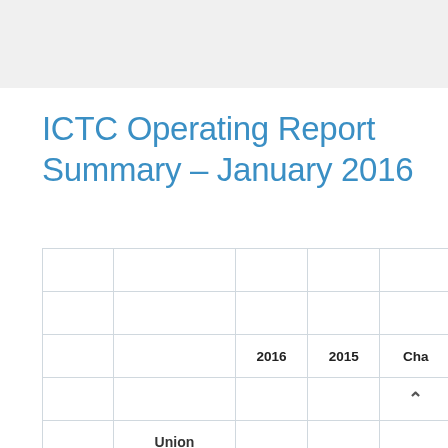ICTC Operating Report Summary – January 2016
|  |  | 2016 | 2015 | Cha… |
| --- | --- | --- | --- | --- |
|  |  |  |  |  |
|  |  |  |  |  |
|  |  | 2016 | 2015 | Cha… |
|  |  |  |  | ^ |
| Union |  |  |  |  |